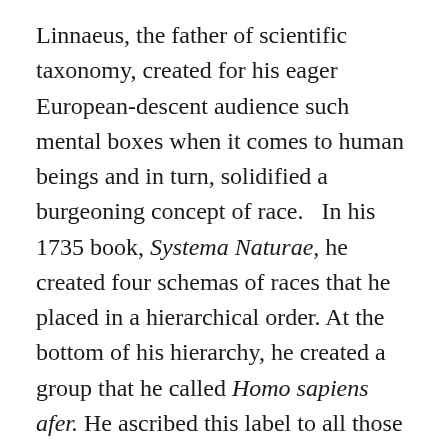Linnaeus, the father of scientific taxonomy, created for his eager European-descent audience such mental boxes when it comes to human beings and in turn, solidified a burgeoning concept of race.   In his 1735 book, Systema Naturae, he created four schemas of races that he placed in a hierarchical order. At the bottom of his hierarchy, he created a group that he called Homo sapiens afer. He ascribed this label to all those of African descent, characterizing them with the color black and the trait of being “beastly.” Next up on his hierarchy were those who descended from the Original Peoples of the Americas.  He ascribed the color red to this